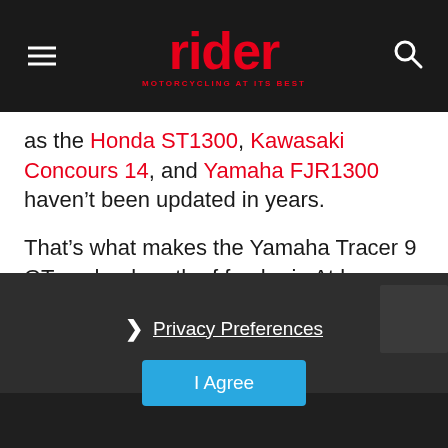rider — MOTORCYCLING AT ITS BEST
as the Honda ST1300, Kawasaki Concours 14, and Yamaha FJR1300 haven't been updated in years.

That's what makes the Yamaha Tracer 9 GT such a breath of fresh air. At less than 500 pounds fully fueled, it's much easier to handle than the 600-plus-pound S-T bikes on the market. And with a claimed 115 horsepower on tap, there are few motorcycles that will leave it behind.
[Figure (screenshot): Dark overlay with Privacy Preferences link and I Agree button over a partially visible motorcycle photo]
Privacy Preferences
I Agree